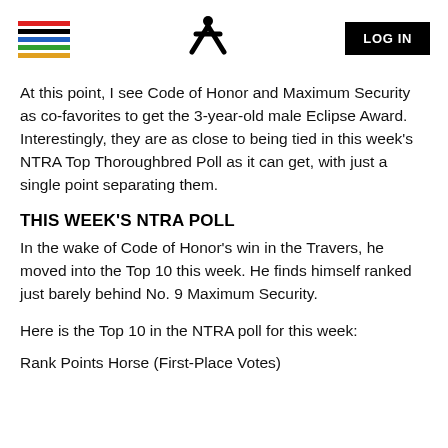LOG IN
At this point, I see Code of Honor and Maximum Security as co-favorites to get the 3-year-old male Eclipse Award. Interestingly, they are as close to being tied in this week's NTRA Top Thoroughbred Poll as it can get, with just a single point separating them.
THIS WEEK'S NTRA POLL
In the wake of Code of Honor's win in the Travers, he moved into the Top 10 this week. He finds himself ranked just barely behind No. 9 Maximum Security.
Here is the Top 10 in the NTRA poll for this week:
Rank Points Horse (First-Place Votes)